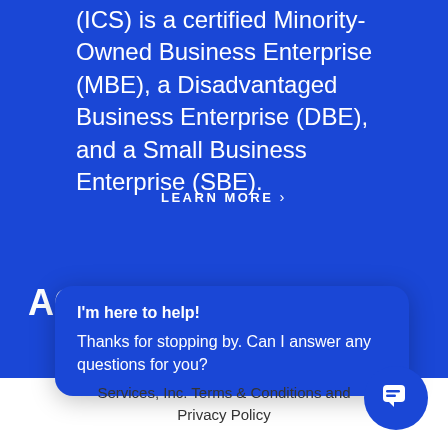(ICS) is a certified Minority-Owned Business Enterprise (MBE), a Disadvantaged Business Enterprise (DBE), and a Small Business Enterprise (SBE).
LEARN MORE >
AC Tracking Code
I'm here to help!
Thanks for stopping by. Can I answer any questions for you?
Services, Inc. Terms & Conditions and Privacy Policy